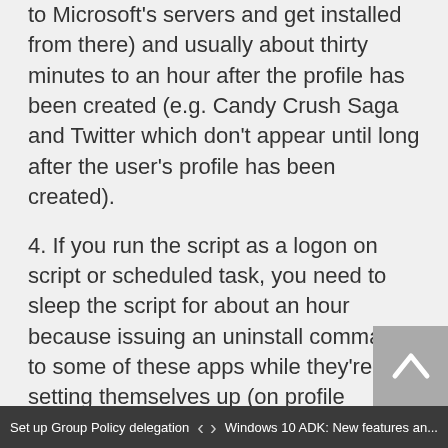to Microsoft's servers and get installed from there) and usually about thirty minutes to an hour after the profile has been created (e.g. Candy Crush Saga and Twitter which don't appear until long after the user's profile has been created).
4. If you run the script as a logon on script or scheduled task, you need to sleep the script for about an hour because issuing an uninstall command to some of these apps while they're still setting themselves up (on profile creation) can cause them to uninstall incorrectly (usually leaving dead items on the start menu).
Set up Group Policy delegation  <  >  Windows 10 ADK: New features an...